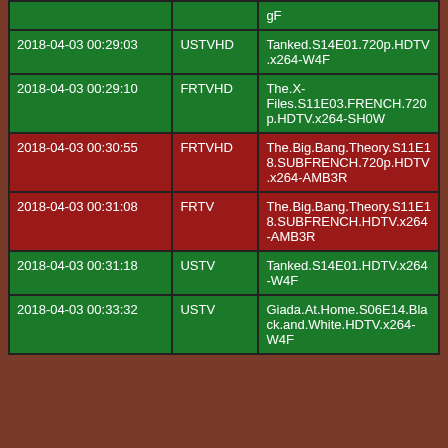| Date/Time | Source | Filename |
| --- | --- | --- |
|  |  | gF |
| 2018-04-03 00:29:03 | USTVHD | Tanked.S14E01.720p.HDTV.x264-W4F |
| 2018-04-03 00:29:10 | FRTVHD | The.X-Files.S11E03.FRENCH.720p.HDTV.x264-SH0W |
| 2018-04-03 00:30:55 | FRTVHD | The.Big.Bang.Theory.S11E18.SUBFRENCH.720p.HDTV.x264-AMB3R |
| 2018-04-03 00:31:08 | FRTV | The.Big.Bang.Theory.S11E18.SUBFRENCH.HDTV.x264-AMB3R |
| 2018-04-03 00:31:18 | USTV | Tanked.S14E01.HDTV.x264-W4F |
| 2018-04-03 00:33:32 | USTV | Giada.At.Home.S06E14.Black.and.White.HDTV.x264-W4F |